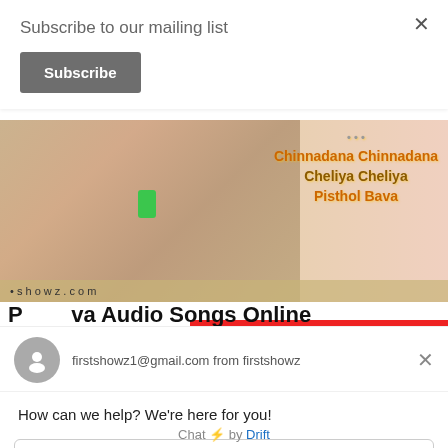Subscribe to our mailing list
Subscribe
[Figure (photo): Banner image showing two people embracing, with Telugu song titles listed on the right: Chinnadana Chinnadana, Cheliya Cheliya, Pisthol Bava. Website URL partially visible at bottom.]
Pa Audio Songs Online
firstshowz1@gmail.com from firstshowz
How can we help? We're here for you!
Reply to firstshowz1@gmail.com
Chat ⚡ by Drift